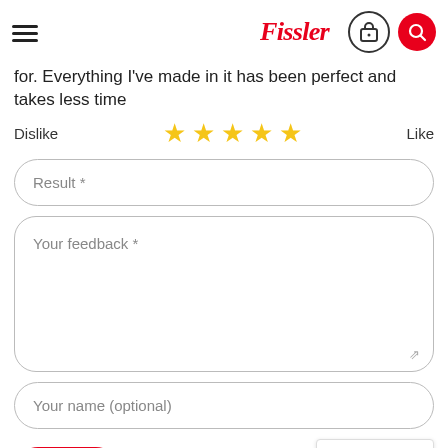Fissler
for. Everything I've made in it has been perfect and takes less time
Dislike ★★★★★ Like
Result *
Your feedback *
Your name (optional)
Send
[Figure (logo): reCAPTCHA logo with Privacy - Terms text]